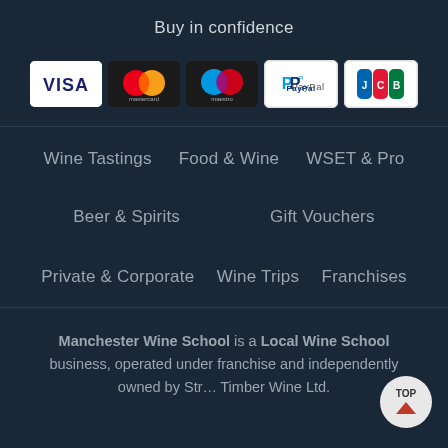Buy in confidence
[Figure (logo): Payment method logos: Visa, Mastercard, Maestro, PayPal, JCB]
Wine Tastings
Food & Wine
WSET & Pro
Beer & Spirits
Gift Vouchers
Private & Corporate
Wine Trips
Franchises
Manchester Wine School is a Local Wine School business, operated under franchise and independently owned by Str... Timber Wine Ltd.